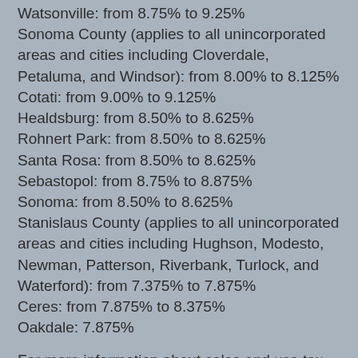Watsonville: from 8.75% to 9.25%
Sonoma County (applies to all unincorporated areas and cities including Cloverdale, Petaluma, and Windsor): from 8.00% to 8.125%
Cotati: from 9.00% to 9.125%
Healdsburg: from 8.50% to 8.625%
Rohnert Park: from 8.50% to 8.625%
Santa Rosa: from 8.50% to 8.625%
Sebastopol: from 8.75% to 8.875%
Sonoma: from 8.50% to 8.625%
Stanislaus County (applies to all unincorporated areas and cities including Hughson, Modesto, Newman, Patterson, Riverbank, Turlock, and Waterford): from 7.375% to 7.875%
Ceres: from 7.875% to 8.375%
Oakdale: 7.875%
For more information about sales and use tax rates, including help for consumers who may have been overcharged, visit boe.ca.gov/knowyourrate or watch the above 'Know Your Tax Rate' video.